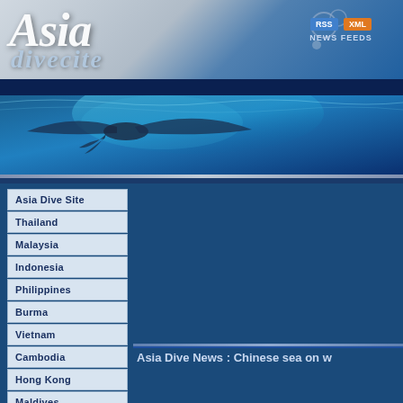[Figure (screenshot): Asia Dive Site website header with logo text 'Asia' and 'divecite' in italic, bubble decorations, and RSS/XML news feed badges on the right]
[Figure (photo): Ocean banner showing a manta ray or whale shark silhouette against blue underwater water surface light]
Asia Dive Site
Thailand
Malaysia
Indonesia
Philippines
Burma
Vietnam
Cambodia
Hong Kong
Maldives
Micronesia
Asia Dive News
Readers Gallery
Asia Dive News : Chinese sea on w